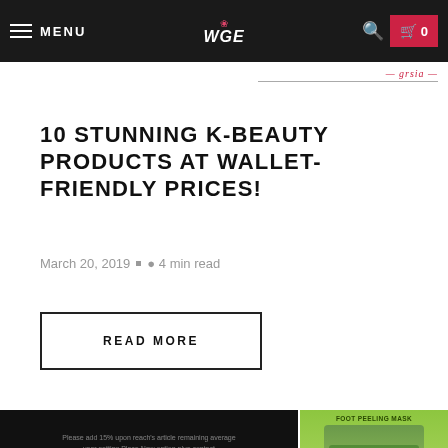MENU | WGE logo | search | cart 0
10 STUNNING K-BEAUTY PRODUCTS AT WALLET-FRIENDLY PRICES!
March 20, 2019  •  4 min read
READ MORE
[Figure (screenshot): Blurred dark promotional image with text overlay followed by person and black device images]
[Figure (photo): Green product packaging for foot peeling mask and a blue-toned product below]